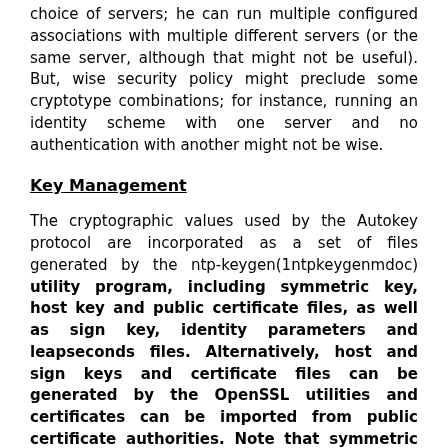choice of servers; he can run multiple configured associations with multiple different servers (or the same server, although that might not be useful). But, wise security policy might preclude some cryptotype combinations; for instance, running an identity scheme with one server and no authentication with another might not be wise.
Key Management
The cryptographic values used by the Autokey protocol are incorporated as a set of files generated by the ntp-keygen(1ntpkeygenmdoc) utility program, including symmetric key, host key and public certificate files, as well as sign key, identity parameters and leapseconds files. Alternatively, host and sign keys and certificate files can be generated by the OpenSSL utilities and certificates can be imported from public certificate authorities. Note that symmetric keys are necessary for the ntpq(1) and ntpdc(1) utility programs. The remaining files are necessary only for the Autokey protocol.
Certificates imported from OpenSSL or public certificate authorities have certian limitations. The certificate should be in ASN.1 syntax, X.509 Version 3 format and encoded in PEM, which is the same format used by OpenSSL. The overall length of the certificate